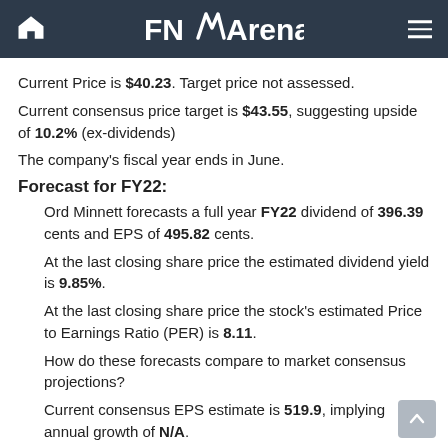FNArena
Current Price is $40.23. Target price not assessed.
Current consensus price target is $43.55, suggesting upside of 10.2% (ex-dividends)
The company's fiscal year ends in June.
Forecast for FY22:
Ord Minnett forecasts a full year FY22 dividend of 396.39 cents and EPS of 495.82 cents.
At the last closing share price the estimated dividend yield is 9.85%.
At the last closing share price the stock's estimated Price to Earnings Ratio (PER) is 8.11.
How do these forecasts compare to market consensus projections?
Current consensus EPS estimate is 519.9, implying annual growth of N/A.
Current consensus DPS estimate is 396.6, implying a prospective dividend yield of 10.0%.
Current consensus EPS estimate suggests the PER is 7.6.